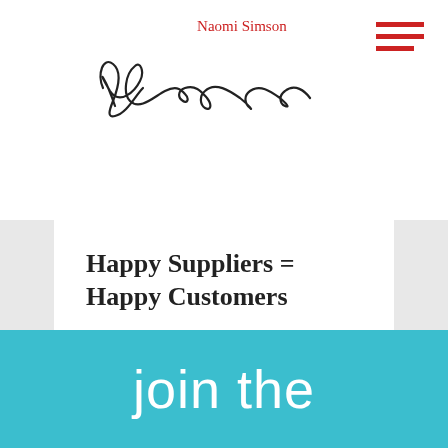Naomi Simson
[Figure (illustration): Handwritten cursive signature reading 'Naomi Simson']
Happy Suppliers = Happy Customers
It is the festive season – so obviously at this time of year you think 'who has helped me this year?' Clearly no business can…
— Read more
join the